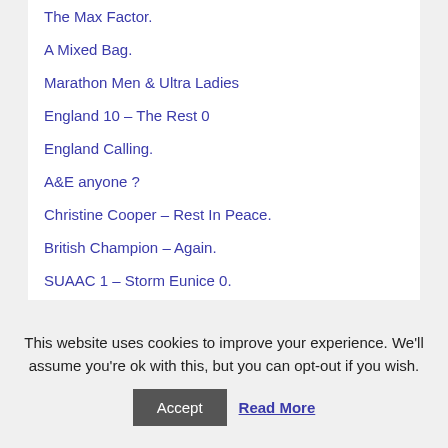The Max Factor.
A Mixed Bag.
Marathon Men & Ultra Ladies
England 10 – The Rest 0
England Calling.
A&E anyone ?
Christine Cooper – Rest In Peace.
British Champion – Again.
SUAAC 1 – Storm Eunice 0.
This website uses cookies to improve your experience. We'll assume you're ok with this, but you can opt-out if you wish.